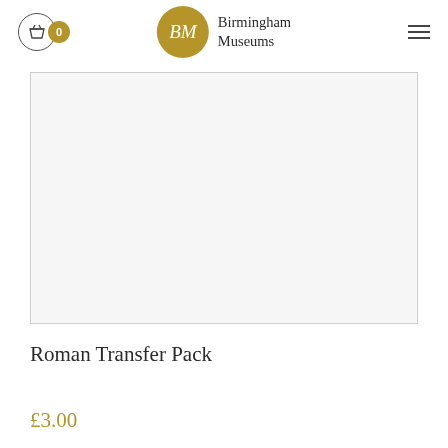Birmingham Museums — Cart (0)
[Figure (photo): White/blank product image placeholder for Roman Transfer Pack]
Roman Transfer Pack
£3.00